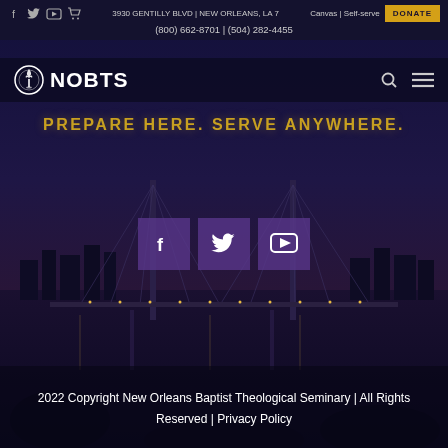3930 GENTILLY BLVD | NEW ORLEANS, LA 7... Canvas | Self-serve DONATE
(800) 662-8701 | (504) 282-4455
[Figure (logo): NOBTS logo with torch icon and text NOBTS]
PREPARE HERE. SERVE ANYWHERE.
[Figure (illustration): Night cityscape of New Orleans with bridge lit up over water]
[Figure (infographic): Three social media icon boxes: Facebook, Twitter, YouTube]
2022 Copyright New Orleans Baptist Theological Seminary | All Rights Reserved | Privacy Policy